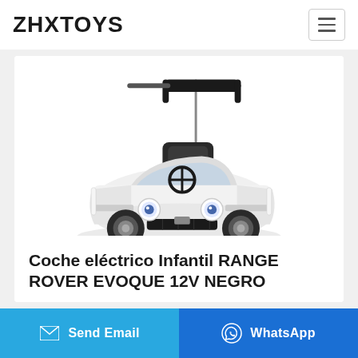ZHXTOYS
[Figure (photo): White children's electric ride-on toy car styled like a Range Rover Evoque, with black push handle from behind, steering wheel, and decorative details. The car is white with black accents.]
Coche eléctrico Infantil RANGE ROVER EVOQUE 12V NEGRO
Send Email | WhatsApp